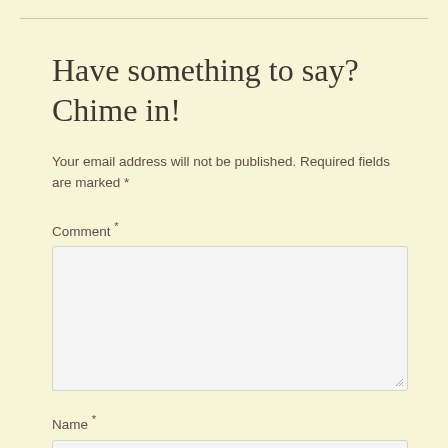Have something to say? Chime in!
Your email address will not be published. Required fields are marked *
Comment *
Name *